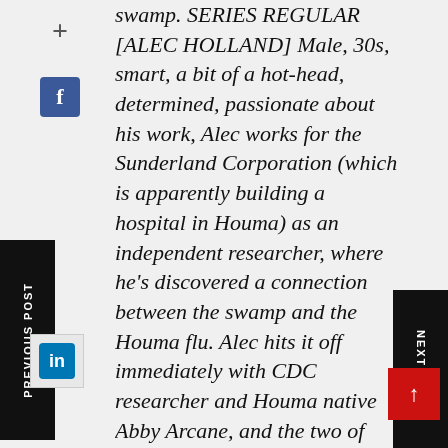swamp. SERIES REGULAR
[ALEC HOLLAND] Male, 30s, smart, a bit of a hot-head, determined, passionate about his work, Alec works for the Sunderland Corporation (which is apparently building a hospital in Houma) as an independent researcher, where he's discovered a connection between the swamp and the Houma flu. Alec hits it off immediately with CDC researcher and Houma native Abby Arcane, and the two of them are much alike, each wanting more out of life, interested in science, and not having much of a love life. Alec is not a big hit with the rest of Houma, however, who view him with suspicion if not open hostility. Alec is determined to persevere despite the town's hostility, but it's